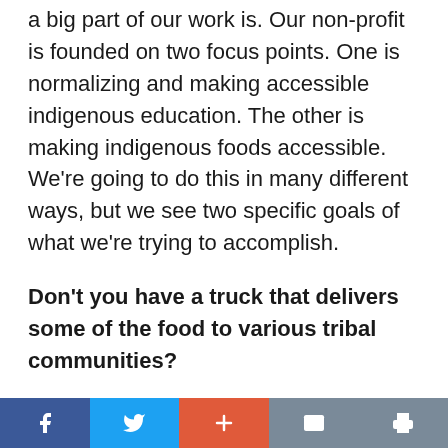a big part of our work is. Our non-profit is founded on two focus points. One is normalizing and making accessible indigenous education. The other is making indigenous foods accessible. We're going to do this in many different ways, but we see two specific goals of what we're trying to accomplish.
Don't you have a truck that delivers some of the food to various tribal communities?
We had a food truck in the beginning that was a for-profit program that we ran for a little while, but we grew to bigger and better things. We do have this nonprofit starting up.
[Figure (other): Social sharing bar with Facebook, Twitter, Google Plus, Email, and Print buttons]